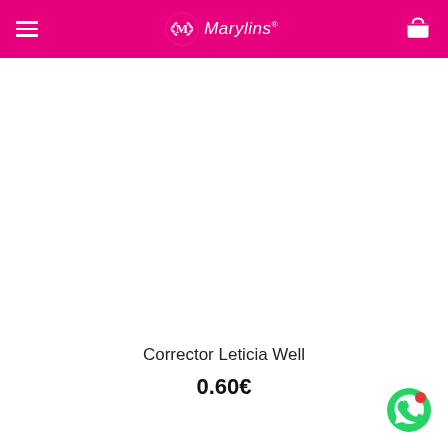Marylins (navigation header with hamburger menu and cart icon)
[Figure (photo): White product image area (blank/empty product photo area for Corrector Leticia Well)]
Corrector Leticia Well
0.60€
[Figure (other): WhatsApp contact button icon with red notification dot in bottom-right corner]